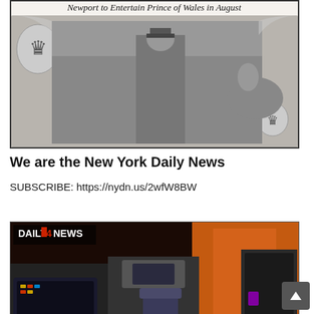[Figure (photo): Historic black and white newspaper photograph with decorative border, headline 'Newport to Entertain Prince of Wales in August', showing a military figure on horseback and a crown emblem.]
We are the New York Daily News
SUBSCRIBE: https://nydn.us/2wfW8BW
[Figure (screenshot): Video thumbnail showing a recreation of the Star Trek Enterprise bridge interior with the DAILY NEWS logo overlay and text 'STAR TREK RECREATED' in large cyan letters at the bottom.]